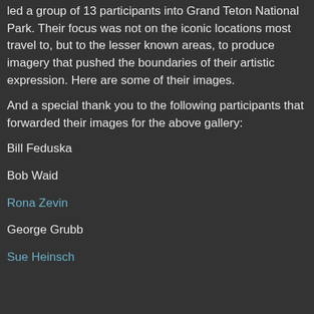led a group of 13 participants into Grand Teton National Park. Their focus was not on the iconic locations most travel to, but to the lesser known areas, to produce imagery that pushed the boundaries of their artistic expression. Here are some of their images.
And a special thank you to the following participants that forwarded their images for the above gallery:
Bill Feduska
Bob Waid
Rona Zevin
George Grubb
Sue Heinsch